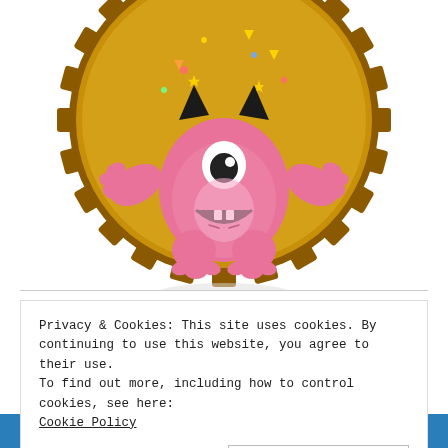[Figure (illustration): A gold/brown gear-shaped badge with 'BLOGGER' text in gold. A pink cartoon one-eyed monster character with horns is in the center of the badge, arms raised, with colorful confetti around it. The top of the badge shows partial white text that is cut off.]
Privacy & Cookies: This site uses cookies. By continuing to use this website, you agree to their use.
To find out more, including how to control cookies, see here:
Cookie Policy
Close and accept
[Figure (illustration): Partial blue banner at bottom showing 'WICKED UNCLE' text in white bold letters]